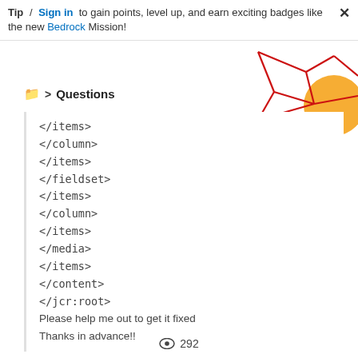Tip / Sign in to gain points, level up, and earn exciting badges like the new Bedrock Mission!
Questions
</items>
</column>
</items>
</fieldset>
</items>
</column>
</items>
</media>
</items>
</content>
</jcr:root>
Please help me out to get it fixed
Thanks in advance!!
292